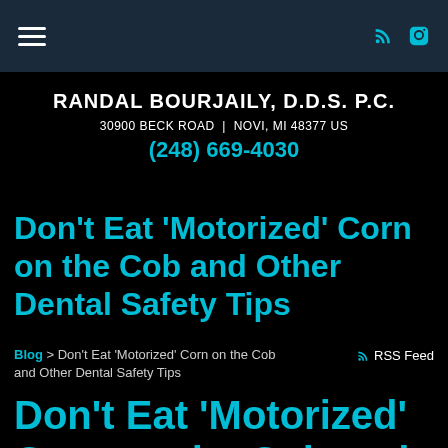RANDAL BOURJAILY, D.D.S. P.C. | 30900 BECK ROAD | NOVI, MI 48377 US | (248) 669-4030
Don't Eat 'Motorized' Corn on the Cob and Other Dental Safety Tips
Blog > Don't Eat 'Motorized' Corn on the Cob and Other Dental Safety Tips   RSS Feed
Don't Eat 'Motorized' Corn on the Cob and Other